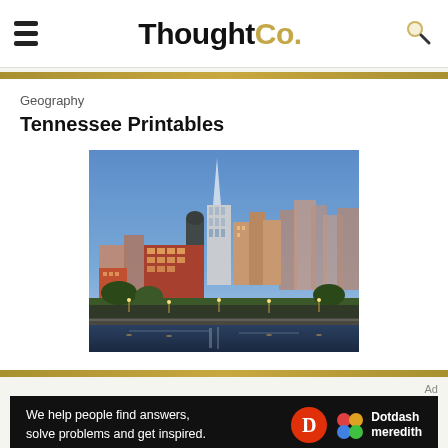ThoughtCo.
Geography
Tennessee Printables
[Figure (photo): Nashville city skyline at dusk/evening with tall skyscrapers including a pointed glass tower, illuminated buildings and lights, viewed from across the Cumberland River.]
Ad
We help people find answers, solve problems and get inspired. Dotdash meredith